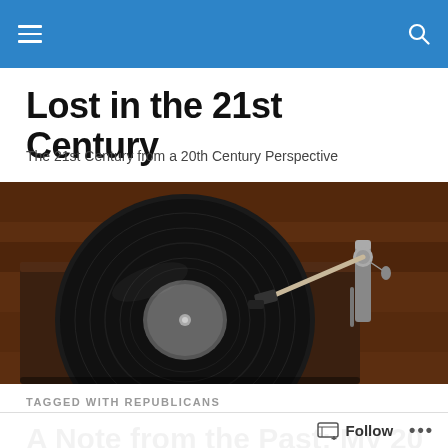Lost in the 21st Century (site navigation header)
Lost in the 21st Century
The 21st Century from a 20th Century Perspective
[Figure (photo): Close-up photograph of a vinyl record turntable with a tonearm and needle, warm brown wooden tones in background.]
TAGGED WITH REPUBLICANS
A Note from the Past: My 2010 Election Post